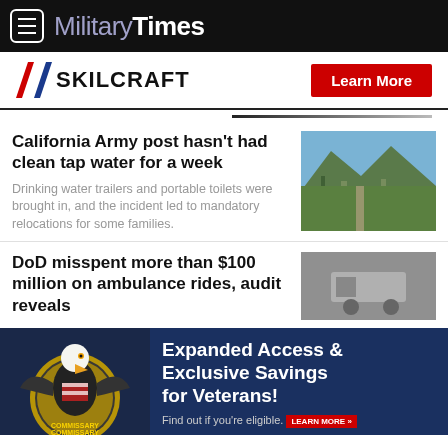MilitaryTimes
[Figure (logo): SKILCRAFT logo with red/blue chevron icon and Learn More button]
California Army post hasn't had clean tap water for a week
Drinking water trailers and portable toilets were brought in, and the incident led to mandatory relocations for some families.
[Figure (photo): Aerial view of California Army post with green landscape and mountains]
DoD misspent more than $100 million on ambulance rides, audit reveals
[Figure (photo): Photo associated with ambulance rides story]
[Figure (infographic): Advertisement: Expanded Access & Exclusive Savings for Veterans! Find out if you're eligible. Commissary logo with bald eagle.]